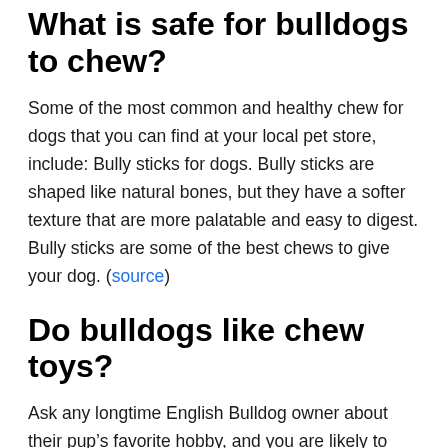What is safe for bulldogs to chew?
Some of the most common and healthy chew for dogs that you can find at your local pet store, include: Bully sticks for dogs. Bully sticks are shaped like natural bones, but they have a softer texture that are more palatable and easy to digest. Bully sticks are some of the best chews to give your dog. (source)
Do bulldogs like chew toys?
Ask any longtime English Bulldog owner about their pup's favorite hobby, and you are likely to hear “chewing.” English Bulldogs love to chew.